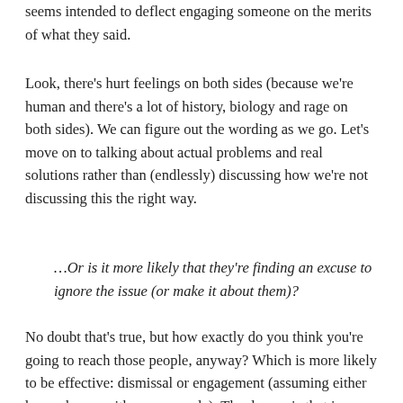seems intended to deflect engaging someone on the merits of what they said.
Look, there’s hurt feelings on both sides (because we’re human and there’s a lot of history, biology and rage on both sides). We can figure out the wording as we go. Let’s move on to talking about actual problems and real solutions rather than (endlessly) discussing how we’re not discussing this the right way.
…Or is it more likely that they’re finding an excuse to ignore the issue (or make it about them)?
No doubt that’s true, but how exactly do you think you’re going to reach those people, anyway? Which is more likely to be effective: dismissal or engagement (assuming either has a chance with some people). The danger is that in grouping any